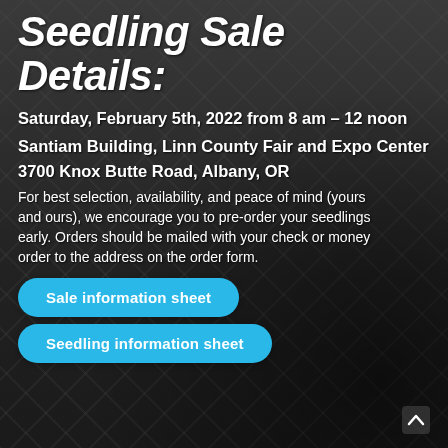Seedling Sale Details:
Saturday, February 5th, 2022 from 8 am – 12 noon
Santiam Building, Linn County Fair and Expo Center
3700 Knox Butte Road, Albany, OR
For best selection, availability, and peace of mind (yours and ours), we encourage you to pre-order your seedlings early. Orders should be mailed with your check or money order to the address on the order form.
Sale information sheet
Seedling information sheet